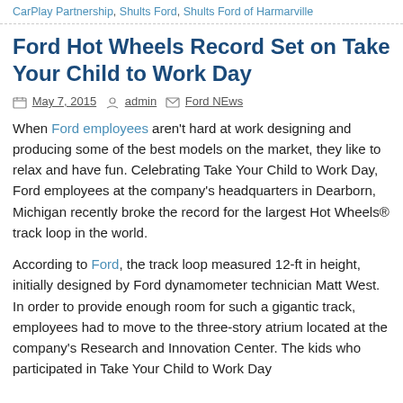CarPlay Partnership, Shults Ford, Shults Ford of Harmarville
Ford Hot Wheels Record Set on Take Your Child to Work Day
May 7, 2015   admin   Ford NEws
When Ford employees aren't hard at work designing and producing some of the best models on the market, they like to relax and have fun. Celebrating Take Your Child to Work Day, Ford employees at the company's headquarters in Dearborn, Michigan recently broke the record for the largest Hot Wheels® track loop in the world.
According to Ford, the track loop measured 12-ft in height, initially designed by Ford dynamometer technician Matt West. In order to provide enough room for such a gigantic track, employees had to move to the three-story atrium located at the company's Research and Innovation Center. The kids who participated in Take Your Child to Work Day